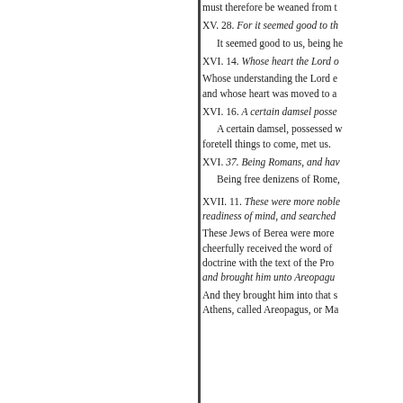must therefore be weaned from t[h...]
XV. 28. For it seemed good to th[...]
It seemed good to us, being he[...]
XVI. 14. Whose heart the Lord o[...]
Whose understanding the Lord e[...] and whose heart was moved to a[...]
XVI. 16. A certain damsel posse[...]
A certain damsel, possessed w[...] foretell things to come, met us.
XVI. 37. Being Romans, and hav[...]
Being free denizens of Rome,
XVII. 11. These were more noble [...] readiness of mind, and searched [...]
These Jews of Berea were more [...] cheerfully received the word of [...] doctrine with the text of the Pro[...] and brought him unto Areopagu[...]
And they brought him into that s[...] Athens, called Areopagus, or Ma[...]